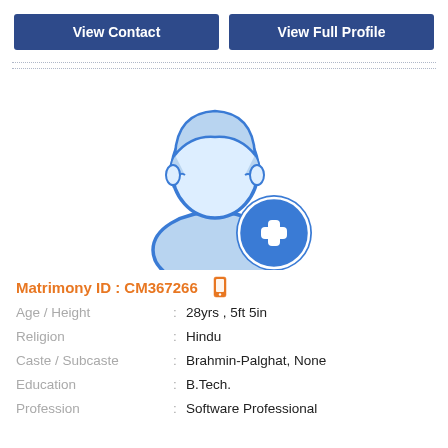View Contact
View Full Profile
[Figure (illustration): Generic male silhouette avatar with a blue plus icon at bottom right, indicating no photo uploaded]
Matrimony ID : CM367266
Age / Height : 28yrs , 5ft 5in
Religion : Hindu
Caste / Subcaste : Brahmin-Palghat, None
Education : B.Tech.
Profession : Software Professional